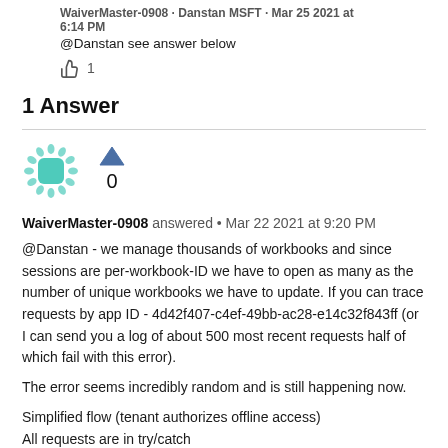WaiverMaster-0908 · Danstan MSFT · Mar 25 2021 at 6:14 PM
@Danstan see answer below
👍 1
1 Answer
[Figure (illustration): User avatar for WaiverMaster-0908, a teal/green snowflake-like badge icon]
WaiverMaster-0908 answered • Mar 22 2021 at 9:20 PM
@Danstan - we manage thousands of workbooks and since sessions are per-workbook-ID we have to open as many as the number of unique workbooks we have to update. If you can trace requests by app ID - 4d42f407-c4ef-49bb-ac28-e14c32f843ff (or I can send you a log of about 500 most recent requests half of which fail with this error).
The error seems incredibly random and is still happening now.
Simplified flow (tenant authorizes offline access)
All requests are in try/catch